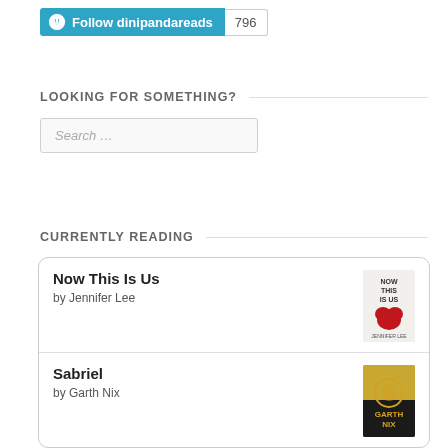[Figure (other): WordPress Follow button for 'dinipandareads' with follower count 796]
LOOKING FOR SOMETHING?
[Figure (other): Search input box with placeholder text 'Search ...']
CURRENTLY READING
Now This Is Us
by Jennifer Lee
Sabriel
by Garth Nix
Just One Damned Thing After Another
by Jodi Taylor